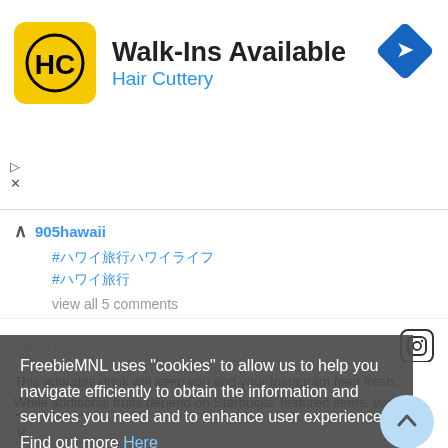[Figure (screenshot): Hair Cuttery advertisement banner with logo, 'Walk-Ins Available' headline, and navigation arrow icon]
905hawaii
#ハワイ旅行 #ハワイ
view all 5 comments
Add a comment...
This adorable drink will keep you and your Instagram feed fresh. While additional fruits depend on Starbucks' featured items, you can get think pink drink by ordering iced milk – coconut milk if its available, and requesting the barista to add Raspberry and Vanilla syrup.
Iced Peppermint Mocha
No need to wait for Starbucks' Christmas drinks because
FreebieMNL uses "cookies" to allow us to help you navigate efficiently to obtain the information and services you need and to enhance user experience. Find out more Here
Okay